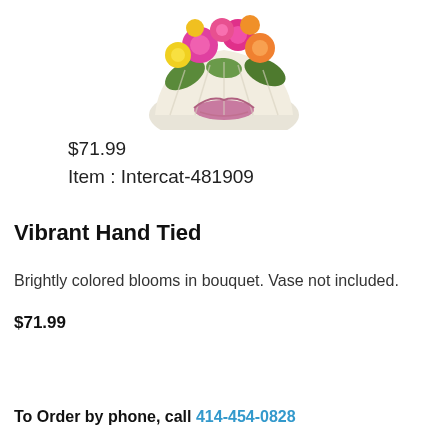[Figure (photo): A vibrant bouquet of brightly colored flowers (pinks, oranges, yellows) wrapped in white netting with a pink ribbon, cropped at the top of the page.]
$71.99
Item : Intercat-481909
Vibrant Hand Tied
Brightly colored blooms in bouquet. Vase not included.
$71.99
To Order by phone, call 414-454-0828